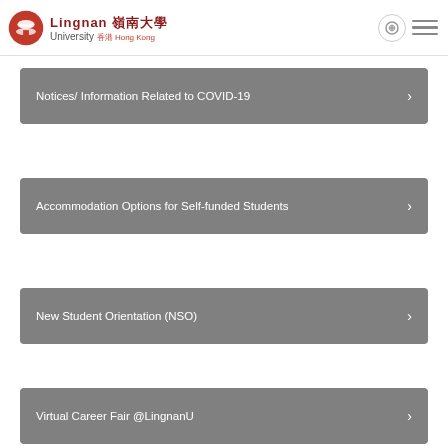Lingnan University 嶺南大學 Hong Kong
Notices/ Information Related to COVID-19
Accommodation Options for Self-funded Students
New Student Orientation (NSO)
Virtual Career Fair @LingnanU